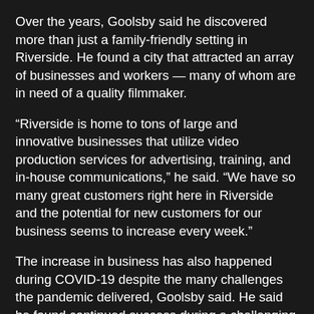Over the years, Goolsby said he discovered more than just a family-friendly setting in Riverside. He found a city that attracted an array of businesses and workers — many of whom are in need of a quality filmmaker.
“Riverside is home to tons of large and innovative businesses that utilize video production services for advertising, training, and in-house communications,” he said. “We have so many great customers right here in Riverside and the potential for new customers for our business seems to increase every week.”
The increase in business has also happened during COVID-19 despite the many challenges the pandemic delivered, Goolsby said. He said he found continued success during a challenging time because he adapted to current needs.
<“We heard the word ‘pivot’ a lot during the pandemic, but for businesses like ours, we’ve always been pivoting by staying current with emerging video technology and